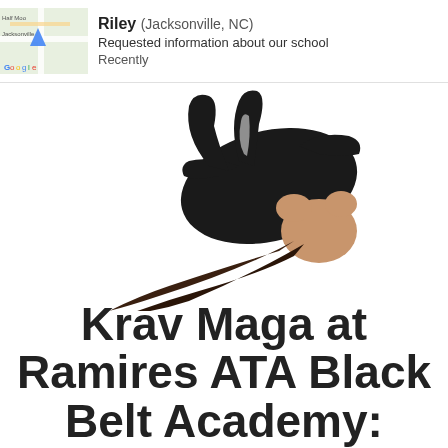[Figure (screenshot): Notification bar showing a map thumbnail of Jacksonville, NC on the left, with text: Riley (Jacksonville, NC), Requested information about our school, Recently]
[Figure (photo): A person wearing a black martial arts uniform, photographed upside down, with long dark hair hanging down, appearing to be in a Krav Maga or martial arts pose]
Krav Maga at Ramires ATA Black Belt Academy: Get Fit & Learn to Protect Yourself